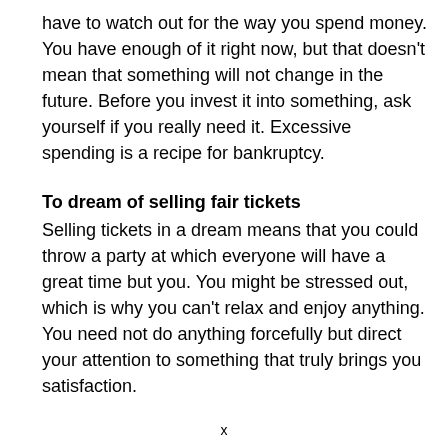have to watch out for the way you spend money. You have enough of it right now, but that doesn't mean that something will not change in the future. Before you invest it into something, ask yourself if you really need it. Excessive spending is a recipe for bankruptcy.
To dream of selling fair tickets
Selling tickets in a dream means that you could throw a party at which everyone will have a great time but you. You might be stressed out, which is why you can't relax and enjoy anything. You need not do anything forcefully but direct your attention to something that truly brings you satisfaction.
x